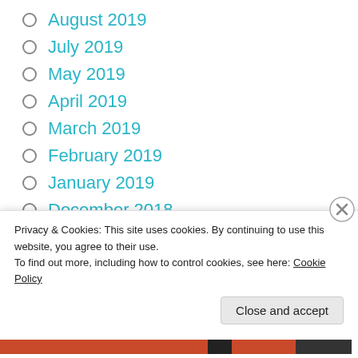August 2019
July 2019
May 2019
April 2019
March 2019
February 2019
January 2019
December 2018
November 2018
October 2018
September 2018
Privacy & Cookies: This site uses cookies. By continuing to use this website, you agree to their use.
To find out more, including how to control cookies, see here: Cookie Policy